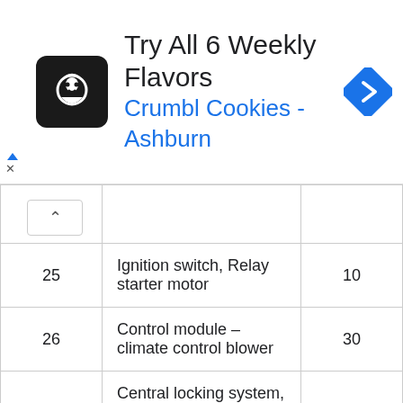[Figure (screenshot): Advertisement banner for Crumbl Cookies - Ashburn, showing logo, title 'Try All 6 Weekly Flavors', subtitle 'Crumbl Cookies - Ashburn', and a navigation icon]
| No. | Component | Amps |
| --- | --- | --- |
| 25 | Ignition switch, Relay starter motor | 10 |
| 26 | Control module – climate control blower | 30 |
| 27 | Central locking system, power windows, defroster, lighting, sideview mirrors, door warning lights, power sideview mirrors | 15 |
| 28 | Power sun roof, courtesy … | 10 |